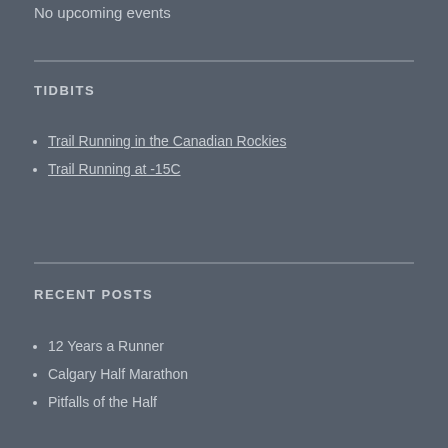No upcoming events
TIDBITS
Trail Running in the Canadian Rockies
Trail Running at -15C
RECENT POSTS
12 Years a Runner
Calgary Half Marathon
Pitfalls of the Half